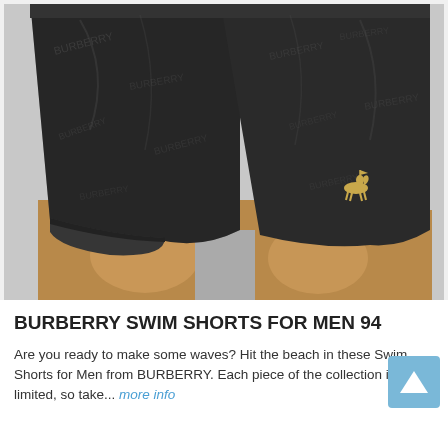[Figure (photo): Close-up photo of a mannequin wearing dark black Burberry swim shorts with an all-over pattern print and a small gold Burberry equestrian knight logo embroidered on the lower right leg of the shorts.]
BURBERRY SWIM SHORTS FOR MEN 94
Are you ready to make some waves? Hit the beach in these Swim Shorts for Men from BURBERRY. Each piece of the collection is limited, so take... more info